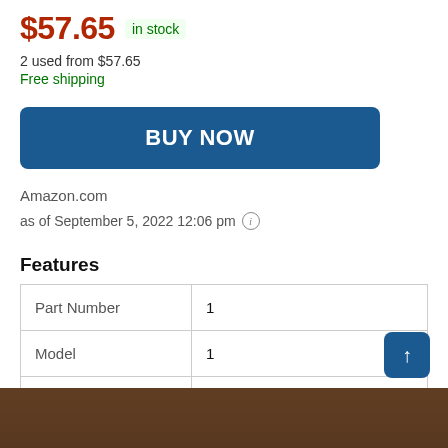$57.65 in stock
2 used from $57.65
Free shipping
BUY NOW
Amazon.com
as of September 5, 2022 12:06 pm
Features
| Part Number | 1 |
| Model | 1 |
| Color | Black Brown |
[Figure (photo): Bottom portion of a product image, partially visible]